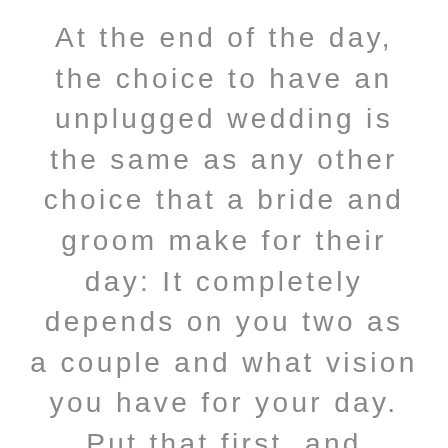At the end of the day, the choice to have an unplugged wedding is the same as any other choice that a bride and groom make for their day: It completely depends on you two as a couple and what vision you have for your day. Put that first, and everything else will fall into place.